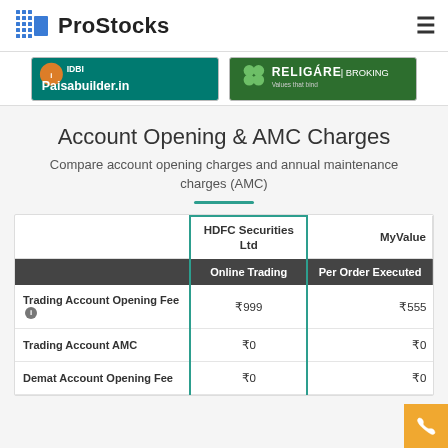ProStocks
[Figure (logo): IDBI Paisabuilder.in banner logo]
[Figure (logo): Religare Broking banner logo]
Account Opening & AMC Charges
Compare account opening charges and annual maintenance charges (AMC)
|  | HDFC Securities Ltd Online Trading | MyValue Per Order Executed |
| --- | --- | --- |
| Trading Account Opening Fee | ₹999 | ₹555 |
| Trading Account AMC | ₹0 | ₹0 |
| Demat Account Opening Fee | ₹0 | ₹0 |